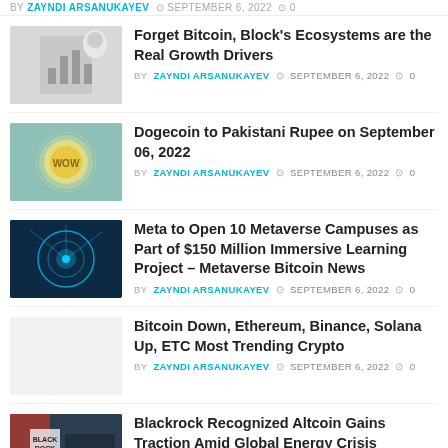BY ZAYNDI ARSANUKAYEV  SEPTEMBER 6, 2022  0
Forget Bitcoin, Block's Ecosystems are the Real Growth Drivers
BY ZAYNDI ARSANUKAYEV  SEPTEMBER 6, 2022  0
Dogecoin to Pakistani Rupee on September 06, 2022
BY ZAYNDI ARSANUKAYEV  SEPTEMBER 6, 2022  0
Meta to Open 10 Metaverse Campuses as Part of $150 Million Immersive Learning Project – Metaverse Bitcoin News
BY ZAYNDI ARSANUKAYEV  SEPTEMBER 6, 2022  0
Bitcoin Down, Ethereum, Binance, Solana Up, ETC Most Trending Crypto
BY ZAYNDI ARSANUKAYEV  SEPTEMBER 6, 2022  0
Blackrock Recognized Altcoin Gains Traction Amid Global Energy Crisis
BY ZAYNDI ARSANUKAYEV  SEPTEMBER 6, 2022  0